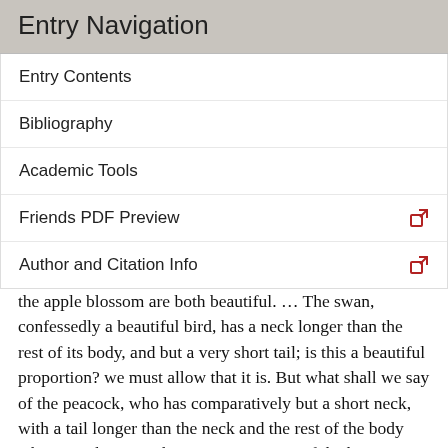Entry Navigation
Entry Contents
Bibliography
Academic Tools
Friends PDF Preview
Author and Citation Info
the apple blossom are both beautiful. … The swan, confessedly a beautiful bird, has a neck longer than the rest of its body, and but a very short tail; is this a beautiful proportion? we must allow that it is. But what shall we say of the peacock, who has comparatively but a short neck, with a tail longer than the neck and the rest of the body taken together? … There are some parts of the human body, that are observed to hold certain proportions to each other; but before it can be proved, that the efficient cause of beauty lies in these, it must be shewn, that wherever these are found exact, the person to whom they